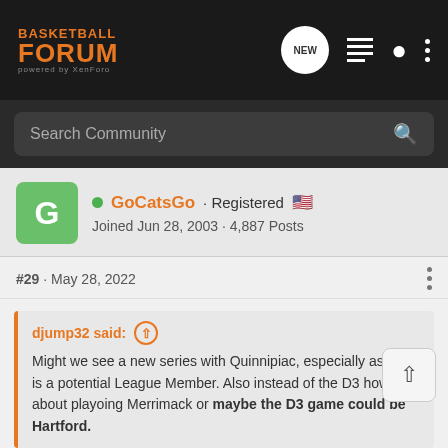BASKETBALL FORUM
Search Community
GoCatsGo · Registered · Joined Jun 28, 2003 · 4,887 Posts
#29 · May 28, 2022
djump32 said: Might we see a new series with Quinnipiac, especially as this is a potential League Member. Also instead of the D3 how about playoing Merrimack or maybe the D3 game could be Hartford.
The point of the annual D-3/NAIA game is to act as our own "guarantee game": bring in schools for home games that won't ask for road games in return. Considering the circumstances Hartford will be in next year, where they'll have to fill an entire schedule (you know, after they fill a roster), I imagine the Cats